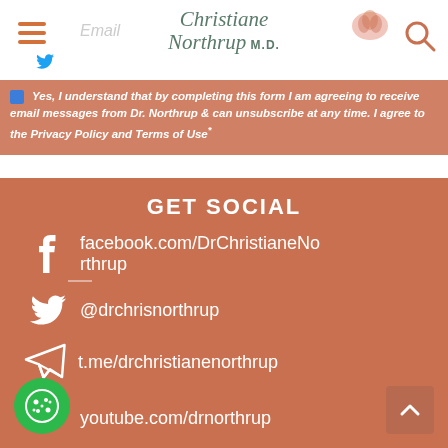Christiane Northrup MD
Yes, I understand that by completing this form I am agreeing to receive email messages from Dr. Northrup & can unsubscribe at any time. I agree to the Privacy Policy and Terms of Use.*
GET SOCIAL
facebook.com/DrChristianeNorthrup
@drchrisnorthrup
t.me/drchristianenorthrup
youtube.com/drnorthrup